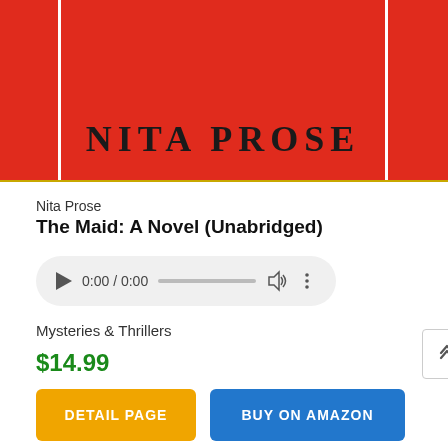[Figure (illustration): Book cover with red background and white border lines. Author name 'NITA PROSE' in large bold black text displayed on the cover.]
Nita Prose
The Maid: A Novel (Unabridged)
[Figure (other): Audio player control bar showing play button, time '0:00 / 0:00', progress bar, volume icon, and options dots menu.]
Mysteries & Thrillers
$14.99
DETAIL PAGE
BUY ON AMAZON